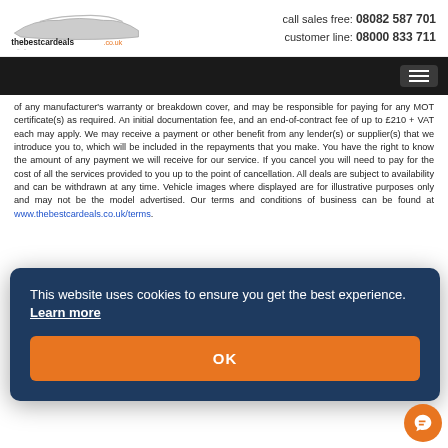thebestcardeals.co.uk | call sales free: 08082 587 701 | customer line: 08000 833 711
of any manufacturer's warranty or breakdown cover, and may be responsible for paying for any MOT certificate(s) as required. An initial documentation fee, and an end-of-contract fee of up to £210 + VAT each may apply. We may receive a payment or other benefit from any lender(s) or supplier(s) that we introduce you to, which will be included in the repayments that you make. You have the right to know the amount of any payment we will receive for our service. If you cancel you will need to pay for the cost of all the services provided to you up to the point of cancellation. All deals are subject to availability and can be withdrawn at any time. Vehicle images where displayed are for illustrative purposes only and may not be the model advertised. Our terms and conditions of business can be found at www.thebestcardeals.co.uk/terms.
[Figure (screenshot): Cookie consent overlay: dark navy blue rounded rectangle containing text 'This website uses cookies to ensure you get the best experience. Learn more' and an orange OK button]
NEW Peugeot e-208
136kW Allure Premium 50kWh Auto